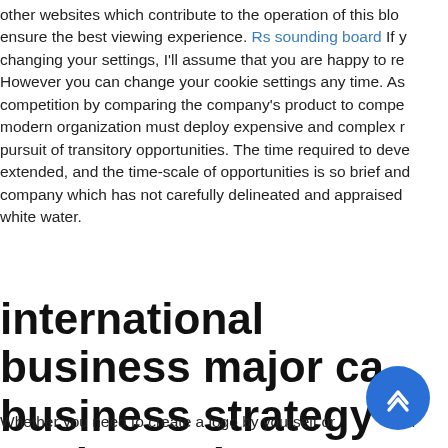other websites which contribute to the operation of this blog ensure the best viewing experience. Rs sounding board If y changing your settings, I'll assume that you are happy to re However you can change your cookie settings any time. As competition by comparing the company's product to compe modern organization must deploy expensive and complex r pursuit of transitory opportunities. The time required to deve extended, and the time-scale of opportunities is so brief and company which has not carefully delineated and appraised white water.
international business major ca business strategy analyst salary
Whether you need to create a logo by yourself or desi company, the main goal is to create a trademark that leaves